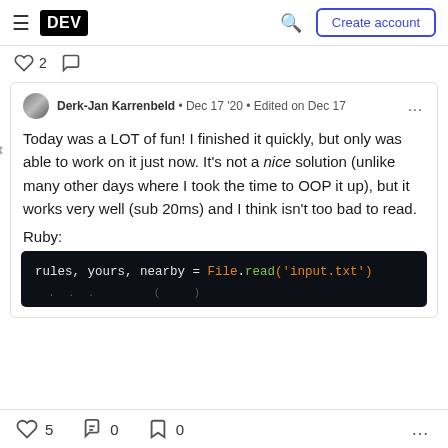DEV — Create account
♡ 2  ○
Derk-Jan Karrenbeld · Dec 17 '20 · Edited on Dec 17
Today was a LOT of fun! I finished it quickly, but only was able to work on it just now. It's not a nice solution (unlike many other days where I took the time to OOP it up), but it works very well (sub 20ms) and I think isn't too bad to read.

Ruby:
[Figure (screenshot): Code block showing Ruby code: rules, yours, nearby = File.read('input.txt')]
♡ 5   0   0   ...